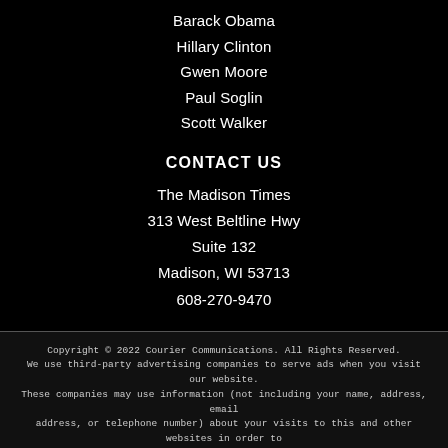Barack Obama
Hillary Clinton
Gwen Moore
Paul Soglin
Scott Walker
CONTACT US
The Madison Times
313 West Beltline Hwy
Suite 132
Madison, WI 53713
608-270-9470
Copyright © 2022 Courier Communications. All Rights Reserved. We use third-party advertising companies to serve ads when you visit our website. These companies may use information (not including your name, address, email address, or telephone number) about your visits to this and other websites in order to provide advertisements about goods and services of interest to you. If you would like more information about this practice and to know your choices about not having this information used by these companies, click here.